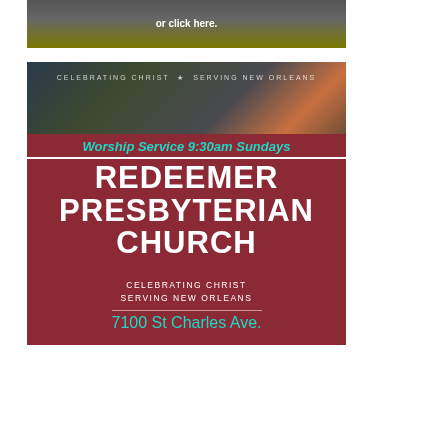[Figure (other): Dark banner with text 'or click here.' in bold white on dark gray/olive gradient background]
[Figure (illustration): Redeemer Presbyterian Church advertisement. Top portion shows city street photo with overlay text 'CELEBRATING CHRIST * SERVING NEW ORLEANS'. Below in teal italic: 'Worship Service 9:30am Sundays'. Large maroon background with white bold text: 'REDEEMER PRESBYTERIAN CHURCH'. White text: 'CELEBRATING CHRIST' and 'SERVING NEW ORLEANS'. Teal address: '7100 St Charles Ave.']